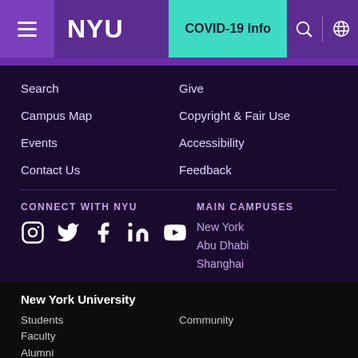NYU | COVID-19 Info
Search
Campus Map
Events
Contact Us
Give
Copyright & Fair Use
Accessibility
Feedback
CONNECT WITH NYU
[Figure (illustration): Social media icons: Instagram, Twitter, Facebook, LinkedIn, YouTube]
MAIN CAMPUSES
New York
Abu Dhabi
Shanghai
New York University
Students
Faculty
Alumni
Community